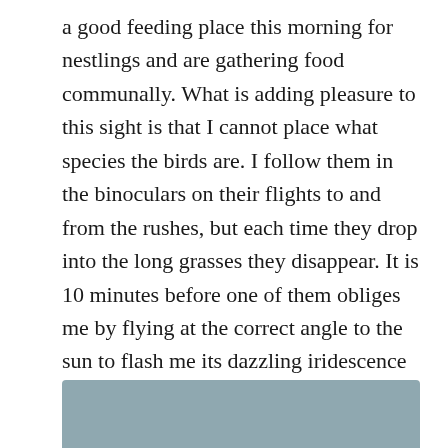a good feeding place this morning for nestlings and are gathering food communally. What is adding pleasure to this sight is that I cannot place what species the birds are. I follow them in the binoculars on their flights to and from the rushes, but each time they drop into the long grasses they disappear. It is 10 minutes before one of them obliges me by flying at the correct angle to the sun to flash me its dazzling iridescence which instantly reveals the blatantly obvious to me; they are starlings. But the pleasure of recognition soon gives way to sadness that they have become rare enough that I was puzzled in the first place.
[Figure (photo): Partial view of a photograph with a grayish-blue sky or water background, cropped at the bottom of the page.]